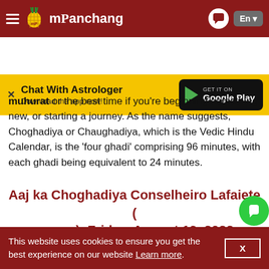mPanchang | En
[Figure (screenshot): Yellow app banner with 'Chat With Astrologer - Download the app now!' and Google Play button]
muhurat or the best time if you're beginning something new, or starting a journey. As the name suggests, Choghadiya or Chaughadiya, which is the Vedic Hindu Calendar, is the 'four ghadi' comprising 96 minutes, with each ghadi being equivalent to 24 minutes.
Aaj ka Choghadiya Conselheiro Lafaiete ( ), Friday, August 19, 2022
If you want to know about din ka Choghadiya, Today Choghadiya table is constructed to check aaj ka shubh
This website uses cookies to ensure you get the best experience on our website Learn more. X